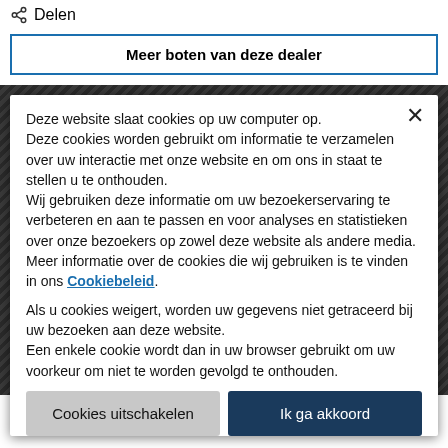Delen
Meer boten van deze dealer
Deze website slaat cookies op uw computer op. Deze cookies worden gebruikt om informatie te verzamelen over uw interactie met onze website en om ons in staat te stellen u te onthouden. Wij gebruiken deze informatie om uw bezoekerservaring te verbeteren en aan te passen en voor analyses en statistieken over onze bezoekers op zowel deze website als andere media. Meer informatie over de cookies die wij gebruiken is te vinden in ons Cookiebeleid.
Als u cookies weigert, worden uw gegevens niet getraceerd bij uw bezoeken aan deze website. Een enkele cookie wordt dan in uw browser gebruikt om uw voorkeur om niet te worden gevolgd te onthouden.
Cookies uitschakelen
Ik ga akkoord